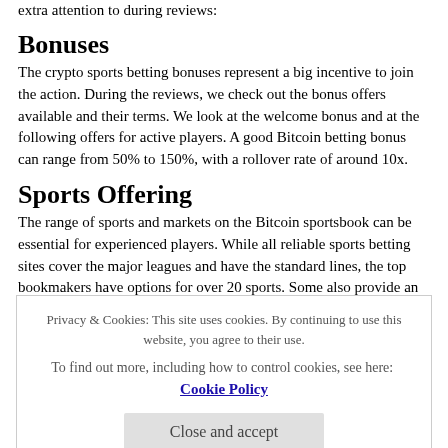extra attention to during reviews:
Bonuses
The crypto sports betting bonuses represent a big incentive to join the action. During the reviews, we check out the bonus offers available and their terms. We look at the welcome bonus and at the following offers for active players. A good Bitcoin betting bonus can range from 50% to 150%, with a rollover rate of around 10x.
Sports Offering
The range of sports and markets on the Bitcoin sportsbook can be essential for experienced players. While all reliable sports betting sites cover the major leagues and have the standard lines, the top bookmakers have options for over 20 sports. Some also provide an impressive range of prop
Privacy & Cookies: This site uses cookies. By continuing to use this website, you agree to their use.
To find out more, including how to control cookies, see here: Cookie Policy
Close and accept
Players should be able to securely add funds and then